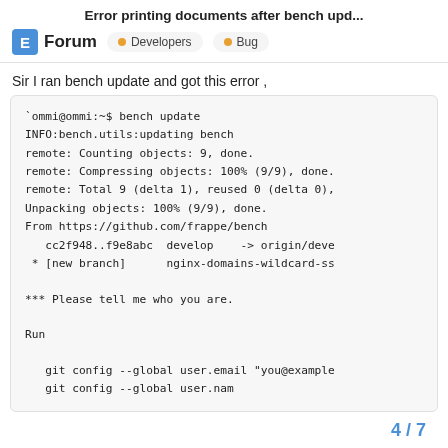Error printing documents after bench upd...
Forum • Developers • Bug
Sir I ran bench update and got this error ,
`ommi@ommi:~$ bench update
INFO:bench.utils:updating bench
remote: Counting objects: 9, done.
remote: Compressing objects: 100% (9/9), done.
remote: Total 9 (delta 1), reused 0 (delta 0),
Unpacking objects: 100% (9/9), done.
From https://github.com/frappe/bench
   cc2f948..f9e8abc  develop    -> origin/deve
 * [new branch]      nginx-domains-wildcard-ss

*** Please tell me who you are.

Run

   git config --global user.email "you@example
   git config --global user.nam
4 / 7